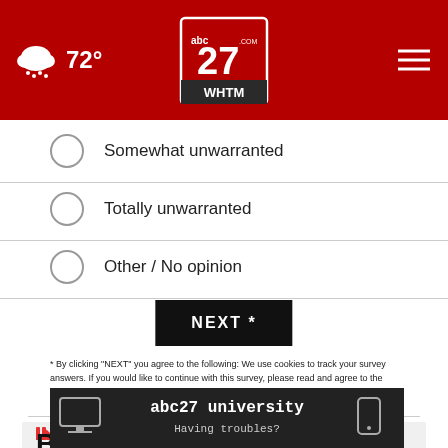abc27 WHTM | 72° weather | navigation
Somewhat unwarranted
Totally unwarranted
Other / No opinion
NEXT *
* By clicking "NEXT" you agree to the following: We use cookies to track your survey answers. If you would like to continue with this survey, please read and agree to the CivicScience Privacy Policy and Terms of Service
SUBSCRIBE NOW
Breaking News
[Figure (screenshot): abc27 university - Having troubles? advertisement banner]